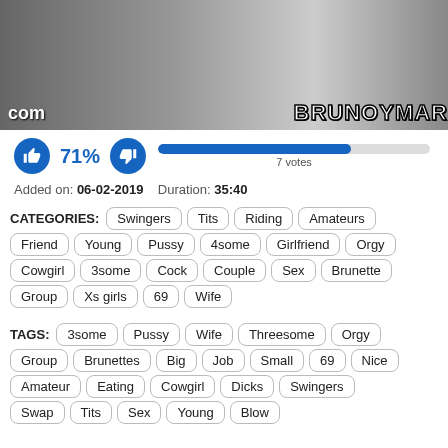[Figure (photo): Video thumbnail showing people, with 'com' text overlay on left and 'BRUNOYMAR' logo on right]
71% | 7 votes
Added on: 06-02-2019   Duration: 35:40
CATEGORIES: Swingers  Tits  Riding  Amateurs  Friend  Young  Pussy  4some  Girlfriend  Orgy  Cowgirl  3some  Cock  Couple  Sex  Brunette  Group  Xs girls  69  Wife
TAGS: 3some  Pussy  Wife  Threesome  Orgy  Group  Brunettes  Big  Job  Small  69  Nice  Amateur  Eating  Cowgirl  Dicks  Swingers  Swap  Tits  Sex  Young  Blow